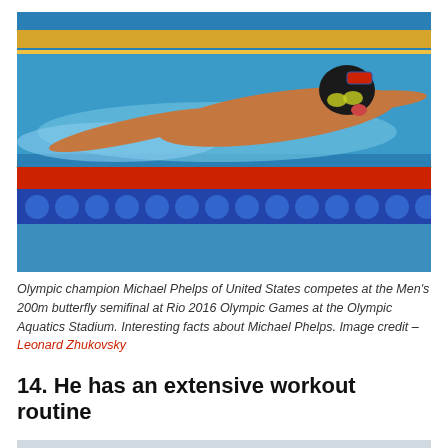[Figure (photo): Michael Phelps swimming butterfly stroke at Rio 2016 Olympic Games, wearing a black cap with US flag and goggles, with yellow and blue lane markers visible]
Olympic champion Michael Phelps of United States competes at the Men's 200m butterfly semifinal at Rio 2016 Olympic Games at the Olympic Aquatics Stadium. Interesting facts about Michael Phelps. Image credit – Leonard Zhukovsky
14. He has an extensive workout routine
[Figure (photo): Partially visible second photo at bottom of page]